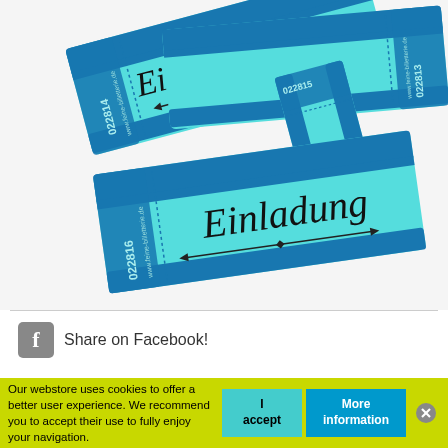[Figure (photo): Three blue event tickets labeled 'Einladung' with serial numbers 022814, 022813, 022815, 022816, arranged overlapping on a white background]
Share on Facebook!
LUCKY TICKET "EINLADUNG"
Our webstore uses cookies to offer a better user experience. We recommend you to accept their use to fully enjoy your navigation.
I accept
More information